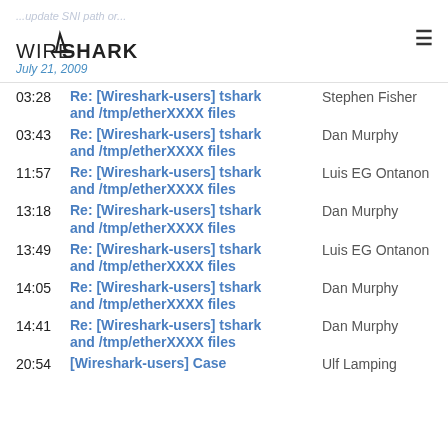Wireshark · July 21, 2009
...update SNI path or...
03:28  Re: [Wireshark-users] tshark and /tmp/etherXXXX files  Stephen Fisher
03:43  Re: [Wireshark-users] tshark and /tmp/etherXXXX files  Dan Murphy
11:57  Re: [Wireshark-users] tshark and /tmp/etherXXXX files  Luis EG Ontanon
13:18  Re: [Wireshark-users] tshark and /tmp/etherXXXX files  Dan Murphy
13:49  Re: [Wireshark-users] tshark and /tmp/etherXXXX files  Luis EG Ontanon
14:05  Re: [Wireshark-users] tshark and /tmp/etherXXXX files  Dan Murphy
14:41  Re: [Wireshark-users] tshark and /tmp/etherXXXX files  Dan Murphy
20:54  [Wireshark-users] Case  Ulf Lamping